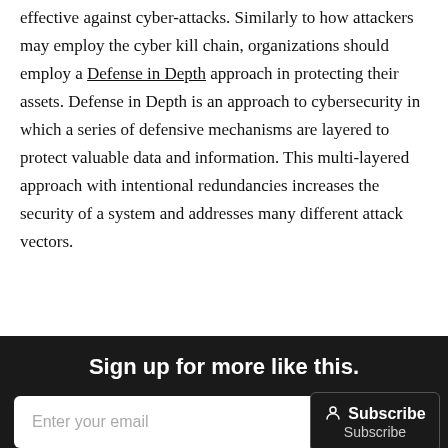effective against cyber-attacks. Similarly to how attackers may employ the cyber kill chain, organizations should employ a Defense in Depth approach in protecting their assets. Defense in Depth is an approach to cybersecurity in which a series of defensive mechanisms are layered to protect valuable data and information. This multi-layered approach with intentional redundancies increases the security of a system and addresses many different attack vectors.
Sign up for more like this.
Enter your email
Subscribe